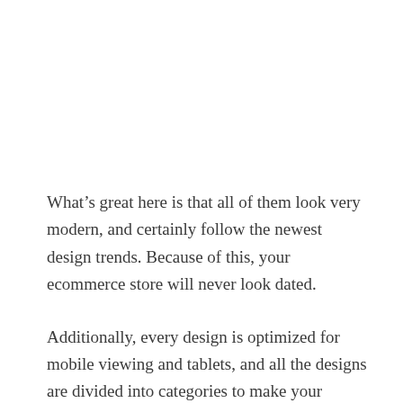What's great here is that all of them look very modern, and certainly follow the newest design trends. Because of this, your ecommerce store will never look dated.
Additionally, every design is optimized for mobile viewing and tablets, and all the designs are divided into categories to make your choice easier.